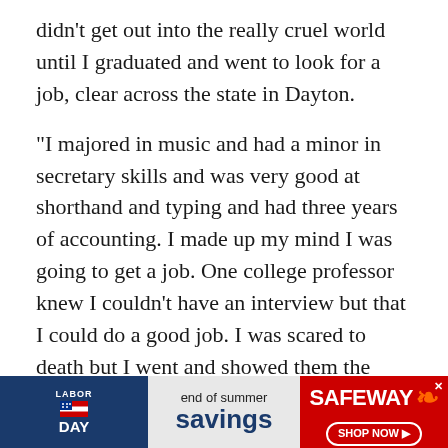didn't get out into the really cruel world until I graduated and went to look for a job, clear across the state in Dayton.
"I majored in music and had a minor in secretary skills and was very good at shorthand and typing and had three years of accounting. I made up my mind I was going to get a job. One college professor knew I couldn't have an interview but that I could do a good job. I was scared to death but I went and showed them the letter and I was hired." When she went to get the bus ticket to Dayton, Annie asked, in writing, how much it cost. The ticket clerk, thinking she was deaf, wrote back the answer.
There is an ambitious, tough side to Glenn and he appears
[Figure (infographic): Safeway Labor Day 'end of summer savings' advertisement banner with flag icon and Shop Now button]